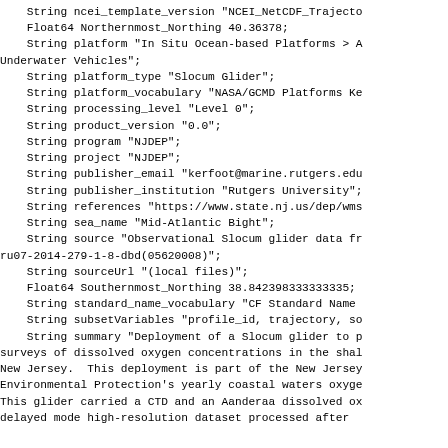String ncei_template_version "NCEI_NetCDF_Trajecto
    Float64 Northernmost_Northing 40.36378;
    String platform "In Situ Ocean-based Platforms > A
Underwater Vehicles";
    String platform_type "Slocum Glider";
    String platform_vocabulary "NASA/GCMD Platforms Ke
    String processing_level "Level 0";
    String product_version "0.0";
    String program "NJDEP";
    String project "NJDEP";
    String publisher_email "kerfoot@marine.rutgers.edu
    String publisher_institution "Rutgers University";
    String references "https://www.state.nj.us/dep/wms
    String sea_name "Mid-Atlantic Bight";
    String source "Observational Slocum glider data fr
ru07-2014-279-1-8-dbd(05620008)";
    String sourceUrl "(local files)";
    Float64 Southernmost_Northing 38.842398333333335;
    String standard_name_vocabulary "CF Standard Name
    String subsetVariables "profile_id, trajectory, so
    String summary "Deployment of a Slocum glider to p
surveys of dissolved oxygen concentrations in the shal
New Jersey.  This deployment is part of the New Jersey
Environmental Protection's yearly coastal waters oxyge
This glider carried a CTD and an Aanderaa dissolved ox
delayed mode high-resolution dataset processed after